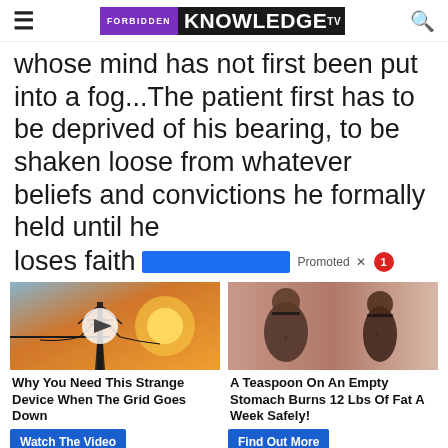FORBIDDEN KNOWLEDGE TV
whose mind has not first been put into a fog...The patient first has to be deprived of his bearing, to be shaken loose from whatever beliefs and convictions he formally held until he loses faith [...]
[Figure (screenshot): Promoted ad bar with blue block overlay and notification badge]
[Figure (photo): Left ad: power transmission tower against orange sunset sky with video play button. Title: Why You Need This Strange Device When The Grid Goes Down. Button: Watch The Video]
[Figure (photo): Right ad: before and after back view of women in black sports bra showing weight loss. Title: A Teaspoon On An Empty Stomach Burns 12 Lbs Of Fat A Week Safely!. Button: Find Out More]